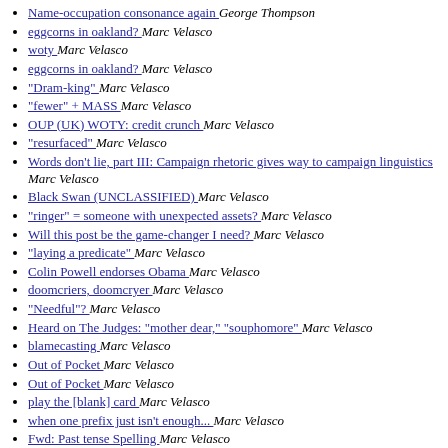Name-occupation consonance again  George Thompson
eggcorns in oakland?  Marc Velasco
woty  Marc Velasco
eggcorns in oakland?  Marc Velasco
"Dram-king"  Marc Velasco
"fewer" + MASS  Marc Velasco
OUP (UK) WOTY: credit crunch  Marc Velasco
"resurfaced"  Marc Velasco
Words don't lie, part III: Campaign rhetoric gives way to campaign linguistics  Marc Velasco
Black Swan (UNCLASSIFIED)  Marc Velasco
"ringer" = someone with unexpected assets?  Marc Velasco
Will this post be the game-changer I need?  Marc Velasco
"laying a predicate"  Marc Velasco
Colin Powell endorses Obama  Marc Velasco
doomcriers, doomcryer  Marc Velasco
"Needful"?  Marc Velasco
Heard on The Judges: "mother dear," "souphomore"  Marc Velasco
blamecasting  Marc Velasco
Out of Pocket  Marc Velasco
Out of Pocket  Marc Velasco
play the [blank] card  Marc Velasco
when one prefix just isn't enough...  Marc Velasco
Fwd: Past tense Spelling  Marc Velasco